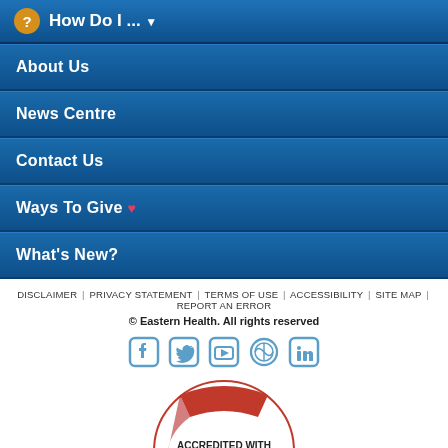How Do I ... ▾
About Us
News Centre
Contact Us
Ways To Give ♥
What's New?
DISCLAIMER | PRIVACY STATEMENT | TERMS OF USE | ACCESSIBILITY | SITE MAP | REPORT AN ERROR
© Eastern Health. All rights reserved
[Figure (infographic): Social media icons: Facebook, Twitter, YouTube, WordPress, LinkedIn in light blue]
[Figure (logo): Accreditation Canada logo with red ribbon and star: ACCREDITED WITH EXEMPLARY STANDING / ACCREDITATION AGRÉMENT CANADA]